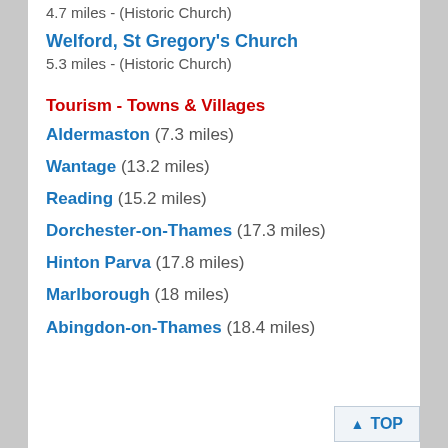4.7 miles - (Historic Church)
Welford, St Gregory's Church
5.3 miles - (Historic Church)
Tourism - Towns & Villages
Aldermaston (7.3 miles)
Wantage (13.2 miles)
Reading (15.2 miles)
Dorchester-on-Thames (17.3 miles)
Hinton Parva (17.8 miles)
Marlborough (18 miles)
Abingdon-on-Thames (18.4 miles)